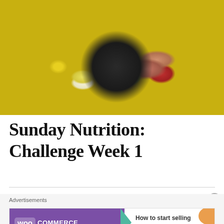[Figure (photo): Overhead view of a healthy food bowl on a wooden board with avocado slices, sliced apples, cherry tomatoes, grapefruit slices, cherries, hard-boiled eggs, and shredded chicken]
Sunday Nutrition: Challenge Week 1
Advertisements
[Figure (other): WooCommerce advertisement banner reading 'How to start selling subscriptions online']